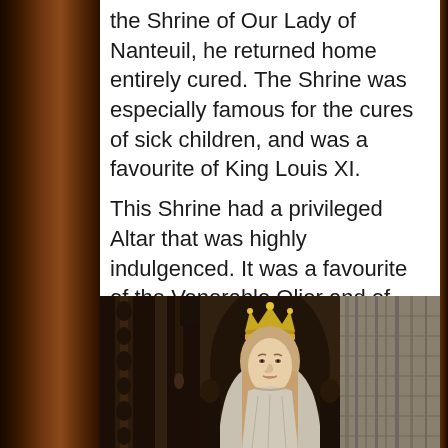the Shrine of Our Lady of Nanteuil, he returned home entirely cured. The Shrine was especially famous for the cures of sick children, and was a favourite of King Louis XI. This Shrine had a privileged Altar that was highly indulgenced. It was a favourite of the Venerable Olier and of that saintly pilgrim, Saint Benedict Joseph Labre. Unfortunately, we have no clear images of the restored Statue.
[Figure (photo): Photograph of a statue of Our Lady (Virgin Mary) wearing a golden crown, with long light-colored hair and robes, set against an ornate dark Gothic architectural background with carved elements and stone walls.]